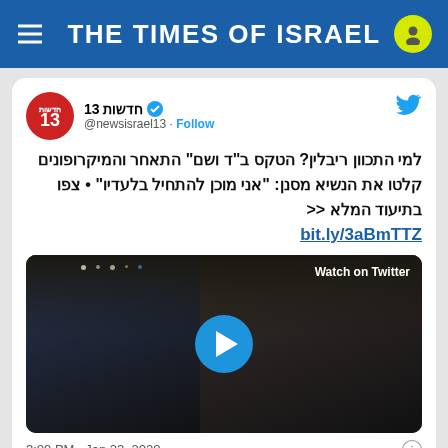THE TIMES OF ISRAEL
[Figure (screenshot): Embedded tweet from @newsisrael13 (חדשות 13) with Hebrew text about Rivlin at a ceremony, a video thumbnail showing two men in conversation at a formal event, and a 'Watch on Twitter' overlay with play button. Timestamp: 3:09 PM · Jan 23, 2020]
למי התכוון ריבלין? הטקס ב"ד ושם" התאחר והמיקרופונים קלטו את הנשיא מסנן: "אני מוכן להתחיל בלעדיו" • צפו בתיעוד המלא >> bit.ly/3aBmTTZ
3:09 PM · Jan 23, 2020